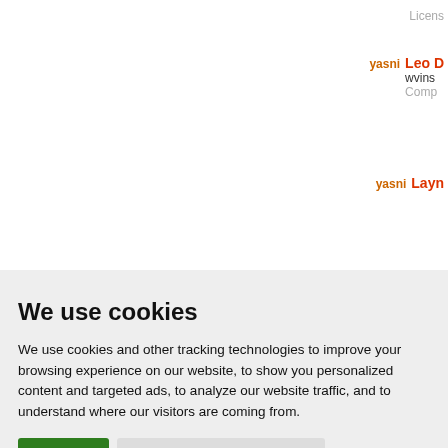Licens
yasni  Leo D  wvins  Comp
yasni  Layn
We use cookies
We use cookies and other tracking technologies to improve your browsing experience on our website, to show you personalized content and targeted ads, to analyze our website traffic, and to understand where our visitors are coming from.
I agree  Change my preferences